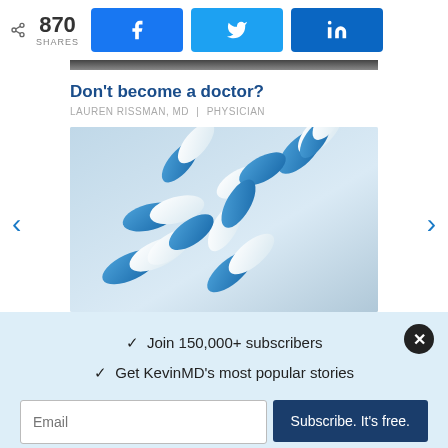870 SHARES | Facebook | Twitter | LinkedIn
Don't become a doctor?
LAUREN RISSMAN, MD | PHYSICIAN
[Figure (photo): Blue and white pharmaceutical capsule pills scattered on a light blue background]
✓ Join 150,000+ subscribers
✓ Get KevinMD's most popular stories
Email | Subscribe. It's free.